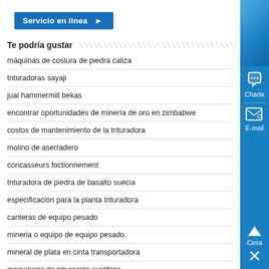[Figure (other): Blue button labeled 'Servicio en linea' with a right arrow]
Te podría gustar
máquinas de costura de piedra caliza
trituradoras sayaji
jual hammermill bekas
encontrar oportunidades de minería de oro en zimbabwe
costos de mantenimiento de la trituradora
molino de aserradero
concasseurs foctionnement
trituradora de piedra de basalto suecia
especificación para la planta trituradora
canteras de equipo pesado
mineria o equipo de equipo pesado.
mineral de plata en cinta transportadora
maquinaria de trituración suráfrica